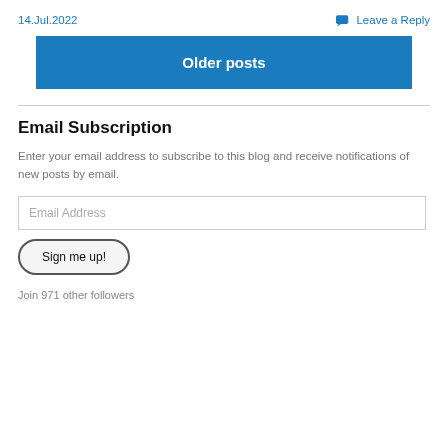14.Jul.2022
Leave a Reply
Older posts
Email Subscription
Enter your email address to subscribe to this blog and receive notifications of new posts by email.
Email Address
Sign me up!
Join 971 other followers